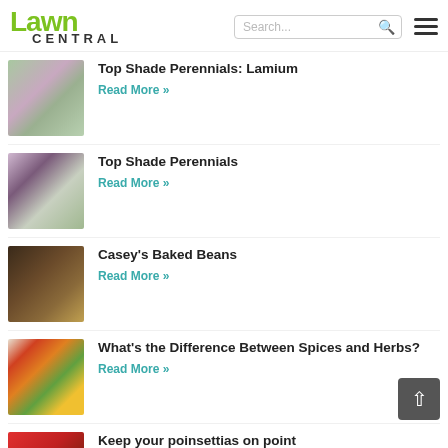Lawn CENTRAL
Top Shade Perennials: Lamium
Read More »
Top Shade Perennials
Read More »
Casey's Baked Beans
Read More »
What's the Difference Between Spices and Herbs?
Read More »
Keep your poinsettias on point